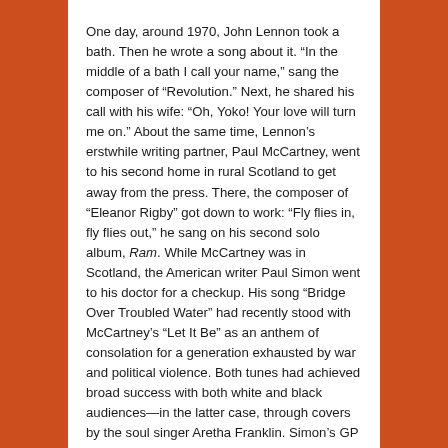One day, around 1970, John Lennon took a bath. Then he wrote a song about it. “In the middle of a bath I call your name,” sang the composer of “Revolution.” Next, he shared his call with his wife: “Oh, Yoko! Your love will turn me on.” About the same time, Lennon’s erstwhile writing partner, Paul McCartney, went to his second home in rural Scotland to get away from the press. There, the composer of “Eleanor Rigby” got down to work: “Fly flies in, fly flies out,” he sang on his second solo album, Ram. While McCartney was in Scotland, the American writer Paul Simon went to his doctor for a checkup. His song “Bridge Over Troubled Water” had recently stood with McCartney’s “Let It Be” as an anthem of consolation for a generation exhausted by war and political violence. Both tunes had achieved broad success with both white and black audiences—in the latter case, through covers by the soul singer Aretha Franklin. Simon’s GP read him the riot act about his fast living. Simon passed the news on to his spouse: “Peg, you better look around! How long you think you can run that body down?”